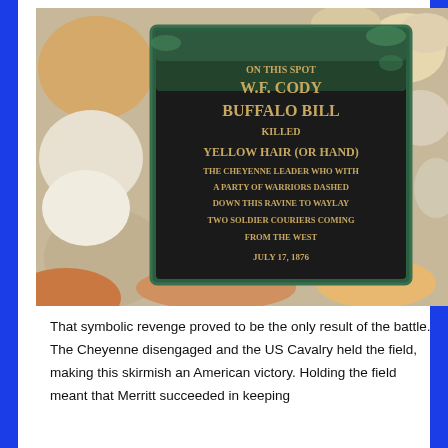[Figure (photo): A bronze historical plaque set among rounded river rocks. The plaque text reads: ON THIS SPOT W.F. CODY BUFFALO BILL KILLED YELLOW HAIR (OR HAND) THE CHEYENNE LEADER WHO WITH A PARTY OF WARRIORS DASHED DOWN THIS RAVINE TO WAYLAY TWO SOLDIER COURIERS COMING FROM THE WEST JULY 17, 1876]
That symbolic revenge proved to be the only result of the battle. The Cheyenne disengaged and the US Cavalry held the field, making this skirmish an American victory. Holding the field meant that Merritt succeeded in keeping